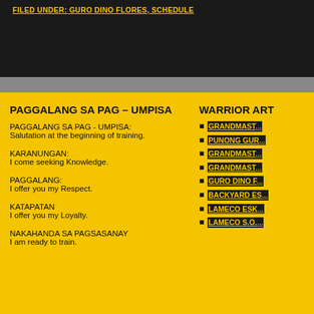FILED UNDER: GURO DINO FLORES, SCHEDULE
PAGGALANG SA PAG – UMPISA
PAGGALANG SA PAG - UMPISA:
Salutation at the beginning of training.
KARANUNGAN:
I come seeking Knowledge.
PAGGALANG:
I offer you my Respect.
KATAPATAN
I offer you my Loyalty.
NAKAHANDA SA PAGSASANAY
I am ready to train.
WARRIOR ART
GRANDMAST...
PUNONG GUR...
GRANDMAST...
GRANDMAST...
GURO DINO F...
BACKYARD ES...
LAMECO ESK...
LAMECO S.O....